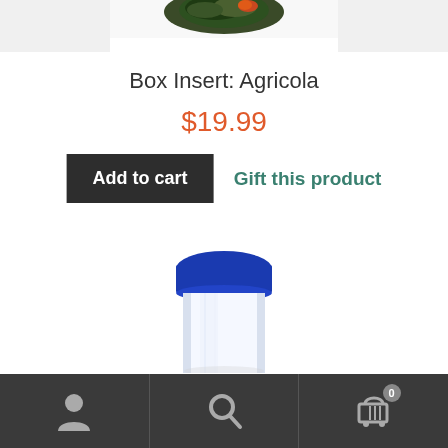[Figure (photo): Partial view of a product (Agricola board game box insert) cropped at the top of the page]
Box Insert: Agricola
$19.99
Add to cart
Gift this product
[Figure (photo): Clear plastic tube or canister with a dark blue/navy cap, shown from above against a white background]
User icon | Search icon | Cart icon with badge 0